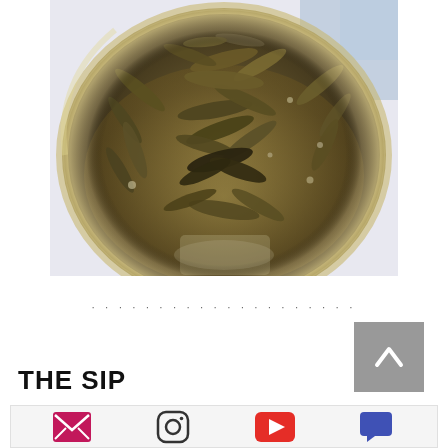[Figure (photo): Close-up photograph of loose tea leaves in a mesh tea strainer/infuser, viewed from above. The leaves are dark greenish-brown and unfurled, sitting in a circular metal mesh basket.]
· · · · · · · · · · · · · · · · · · · ·
THE SIP